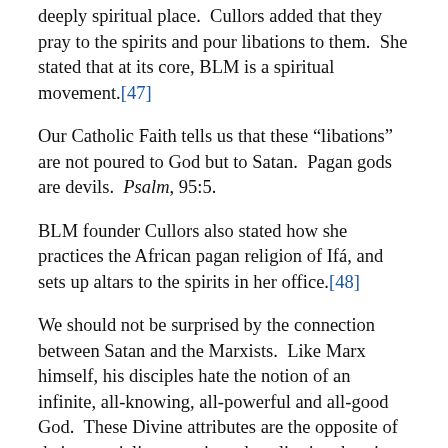deeply spiritual place.  Cullors added that they pray to the spirits and pour libations to them.  She stated that at its core, BLM is a spiritual movement.[47]
Our Catholic Faith tells us that these “libations” are not poured to God but to Satan.  Pagan gods are devils.  Psalm, 95:5.
BLM founder Cullors also stated how she practices the African pagan religion of Ifá, and sets up altars to the spirits in her office.[48]
We should not be surprised by the connection between Satan and the Marxists.  Like Marx himself, his disciples hate the notion of an infinite, all-knowing, all-powerful and all-good God.  These Divine attributes are the opposite of their materialist, gnostic and egalitarian doctrine.
Since Marxist doctrine condemns all superiority, it